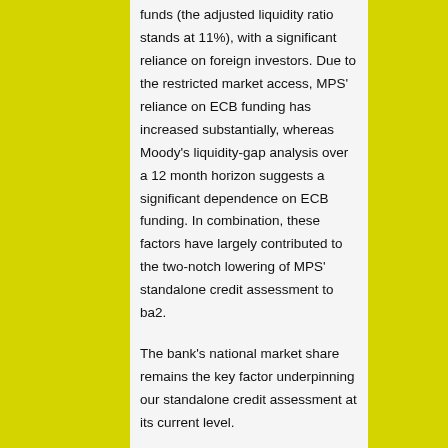funds (the adjusted liquidity ratio stands at 11%), with a significant reliance on foreign investors. Due to the restricted market access, MPS' reliance on ECB funding has increased substantially, whereas Moody's liquidity-gap analysis over a 12 month horizon suggests a significant dependence on ECB funding. In combination, these factors have largely contributed to the two-notch lowering of MPS' standalone credit assessment to ba2.
The bank's national market share remains the key factor underpinning our standalone credit assessment at its current level.
The Baa3 long-term deposit rating